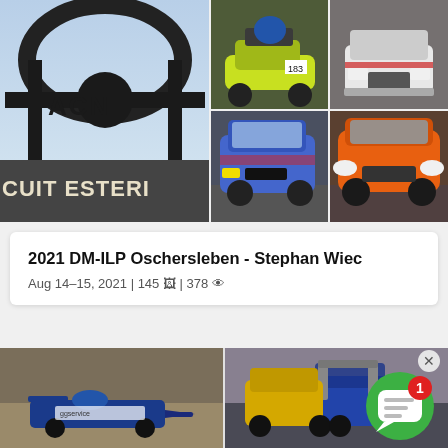[Figure (photo): Top photo collage: left side shows ACN Circuit Estéril signage silhouette against sky; top-right shows a yellow-green buggy/autocross car racing; top-right second shows a white rally car front view; bottom-right-left shows a blue VW hatchback racing; bottom-right shows an orange BMW M3 racing]
2021 DM-ILP Oschersleben - Stephan Wiec
Aug 14–15, 2021 | 145 🖼 | 378 👁
[Figure (photo): Bottom collage: left shows a blue formula/single-seater car on dirt track; right shows yellow and blue rally/buggy cars racing side by side with spectators in background; overlaid with a green chat notification bubble showing '1' unread message and an X close button]